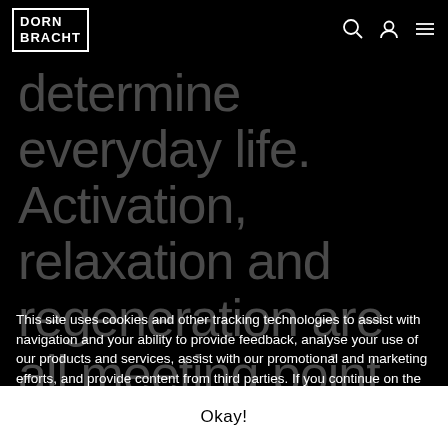DORN BRACHT
determine everyday life. Activation, relaxation and regeneration are all meeting point between
This site uses cookies and other tracking technologies to assist with navigation and your ability to provide feedback, analyse your use of our products and services, assist with our promotional and marketing efforts, and provide content from third parties. If you continue on the site, you agree to the use of cookies. Cookies and privacy statement
Okay!